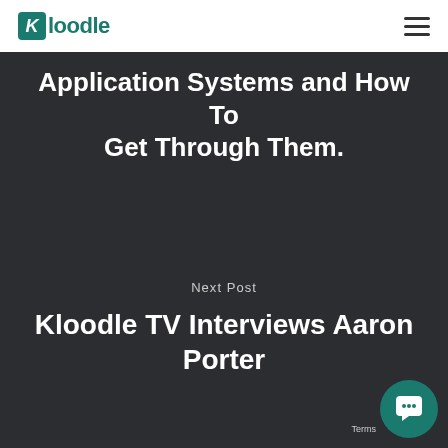Kloodle
Application Systems and How To Get Through Them.
Next Post
Kloodle TV Interviews Aaron Porter